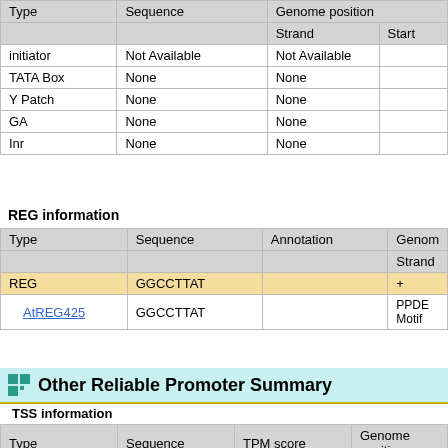| Type | Sequence | Genome position |
| --- | --- | --- |
| initiator | Not Available | Not Available |  |
| TATA Box | None | None |  |
| Y Patch | None | None |  |
| GA | None | None |  |
| Inr | None | None |  |
REG information
| Type | Sequence | Annotation | Genome position |
| --- | --- | --- | --- |
| REG | GGCCTTAT |  | + |  |
| AtREG425 | GGCCTTAT |  | PPDE Motif |  |
Other Reliable Promoter Summary
TSS information
| Type | Sequence | TPM score | Genome position |
| --- | --- | --- | --- |
| Not Available | Not Available | Not Available | Not Available |  |
TSS information from cDNA
| Type | Sequence | Score | Genome position |
| --- | --- | --- | --- |